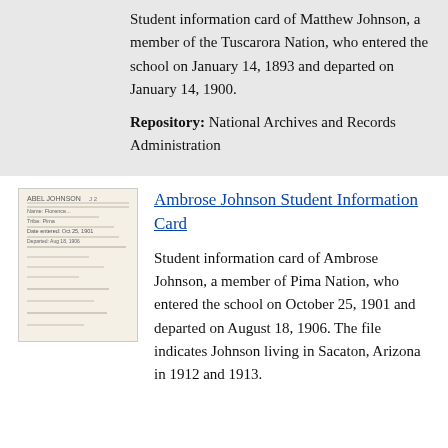Student information card of Matthew Johnson, a member of the Tuscarora Nation, who entered the school on January 14, 1893 and departed on January 14, 1900.
Repository: National Archives and Records Administration
[Figure (photo): Thumbnail image of a handwritten student information card]
Ambrose Johnson Student Information Card
Student information card of Ambrose Johnson, a member of Pima Nation, who entered the school on October 25, 1901 and departed on August 18, 1906. The file indicates Johnson living in Sacaton, Arizona in 1912 and 1913.